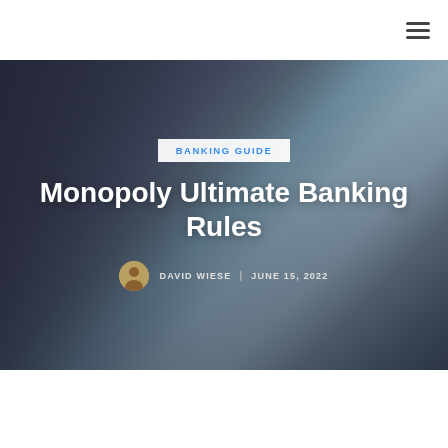[Figure (photo): Hero image of a person holding a Monopoly Ultimate Banking card reader device over a Monopoly board game, with cards and game pieces visible in the background. Dark overlay applied over the image.]
BANKING GUIDE
Monopoly Ultimate Banking Rules
DAVID WIESE | JUNE 15, 2022